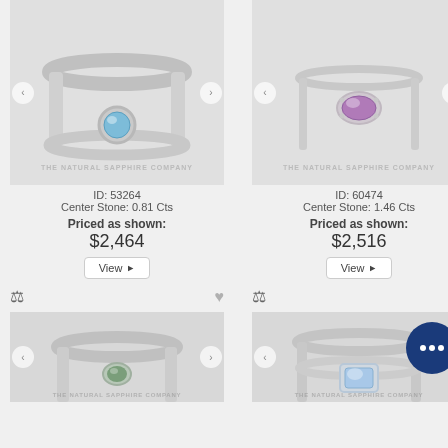[Figure (photo): Silver ring with round blue gemstone center stone, shown with matching band, on light gray background with The Natural Sapphire Company watermark]
ID: 53264
Center Stone: 0.81 Cts
Priced as shown:
$2,464
View ▶
[Figure (photo): Silver ring with oval purple/amethyst gemstone center stone in prong setting on light gray background with The Natural Sapphire Company watermark]
ID: 60474
Center Stone: 1.46 Cts
Priced as shown:
$2,516
View ▶
[Figure (photo): Silver ring with small green gemstone center stone on light gray background, bottom left product]
[Figure (photo): Silver ring with light blue/diamond gemstone center stone on light gray background, with chat bubble overlay, bottom right product]